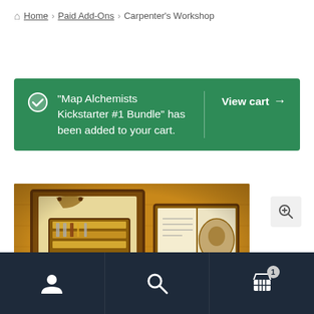Home > Paid Add-Ons > Carpenter's Workshop
"Map Alchemists Kickstarter #1 Bundle" has been added to your cart.
View cart →
[Figure (photo): Carpenter's workshop overhead view showing wooden tools, drawing frames, an open book, and carpenter implements on a wooden surface]
[Figure (other): Zoom/magnify button icon]
Navigation bar with user icon, search icon, and cart icon with badge showing 1 item